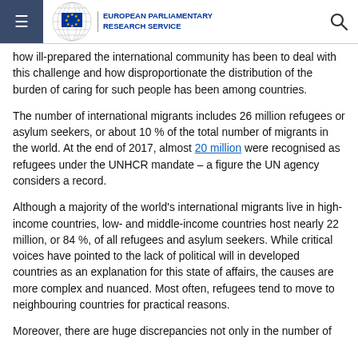European Parliamentary Research Service
how ill-prepared the international community has been to deal with this challenge and how disproportionate the distribution of the burden of caring for such people has been among countries.
The number of international migrants includes 26 million refugees or asylum seekers, or about 10 % of the total number of migrants in the world. At the end of 2017, almost 20 million were recognised as refugees under the UNHCR mandate – a figure the UN agency considers a record.
Although a majority of the world's international migrants live in high-income countries, low- and middle-income countries host nearly 22 million, or 84 %, of all refugees and asylum seekers. While critical voices have pointed to the lack of political will in developed countries as an explanation for this state of affairs, the causes are more complex and nuanced. Most often, refugees tend to move to neighbouring countries for practical reasons.
Moreover, there are huge discrepancies not only in the number of